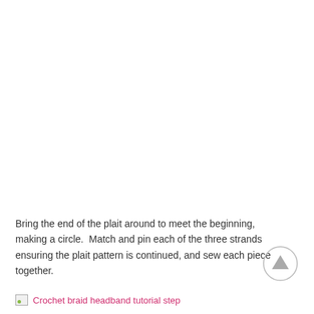[Figure (photo): White/blank area representing a missing or loading image of crochet braid headband tutorial step]
Bring the end of the plait around to meet the beginning, making a circle.  Match and pin each of the three strands ensuring the plait pattern is continued, and sew each piece together.
Crochet braid headband tutorial step